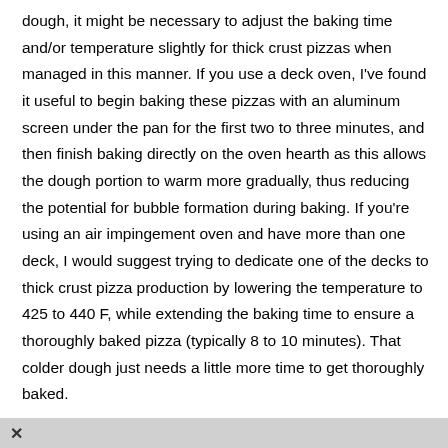dough, it might be necessary to adjust the baking time and/or temperature slightly for thick crust pizzas when managed in this manner. If you use a deck oven, I've found it useful to begin baking these pizzas with an aluminum screen under the pan for the first two to three minutes, and then finish baking directly on the oven hearth as this allows the dough portion to warm more gradually, thus reducing the potential for bubble formation during baking. If you're using an air impingement oven and have more than one deck, I would suggest trying to dedicate one of the decks to thick crust pizza production by lowering the temperature to 425 to 440 F, while extending the baking time to ensure a thoroughly baked pizza (typically 8 to 10 minutes). That colder dough just needs a little more time to get thoroughly baked.

In case you're wondering how much dough to use when making a thick crust pizza, a general rule is to increase the dough scaling weight by approximately 25 percent. Thick crust pizzas can help to
×